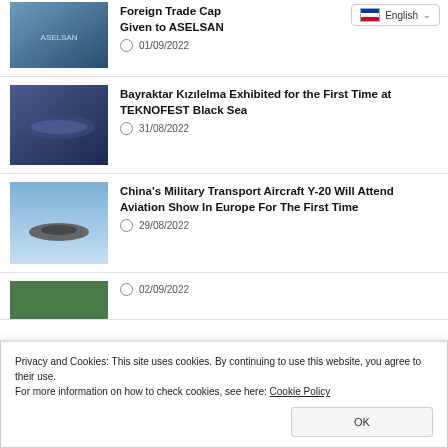[Figure (screenshot): Language selector dropdown showing English with flag icon]
[Figure (photo): Photo of ASELSAN exhibit at trade/defense show]
Foreign Trade Cap Given to ASELSAN
01/09/2022
[Figure (photo): Photo of Bayraktar Kizilelma aircraft at TEKNOFEST Black Sea]
Bayraktar Kızılelma Exhibited for the First Time at TEKNOFEST Black Sea
31/08/2022
[Figure (photo): Photo of China Y-20 military transport aircraft in flight]
China's Military Transport Aircraft Y-20 Will Attend Aviation Show In Europe For The First Time
29/08/2022
Privacy and Cookies: This site uses cookies. By continuing to use this website, you agree to their use.
For more information on how to check cookies, see here: Cookie Policy
OK
02/09/2022